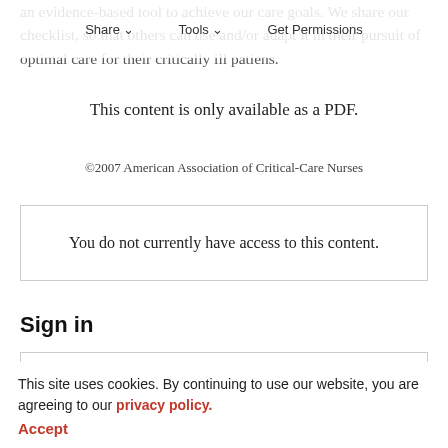an evidence-based tool to achieve our care goals. We share our checklist, so that others can use and/or adapt it in their pursuit of optimal care for their critically ill patiens.
Share   Tools   Get Permissions
This content is only available as a PDF.
©2007 American Association of Critical-Care Nurses
You do not currently have access to this content.
Sign in
Don't already have an account? Register
This site uses cookies. By continuing to use our website, you are agreeing to our privacy policy. Accept
AACN Account